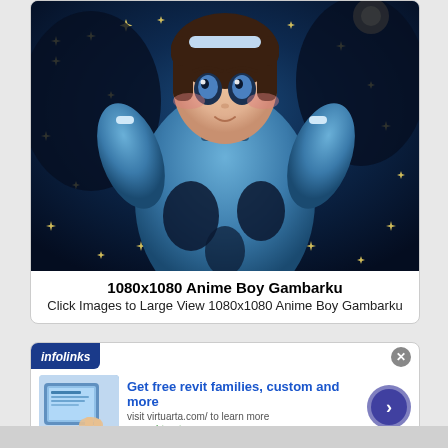[Figure (illustration): Anime character (girl/boy) in a blue space suit with dark blue starry background, glowing star sparkles throughout, character has brown hair with blue-white headband, blushing cheeks]
1080x1080 Anime Boy Gambarku
Click Images to Large View 1080x1080 Anime Boy Gambarku
[Figure (screenshot): Advertisement banner from infolinks. Headline: Get free revit families, custom and more. Subtext: visit virtuarta.com/ to learn more. URL: www.virtuarta.com. Shows a thumbnail of a tablet/device on a desk with design software.]